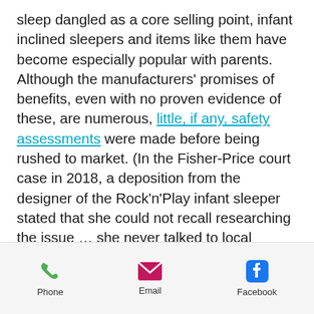sleep dangled as a core selling point, infant inclined sleepers and items like them have become especially popular with parents. Although the manufacturers' promises of benefits, even with no proven evidence of these, are numerous, little, if any, safety assessments were made before being rushed to market. (In the Fisher-Price court case in 2018, a deposition from the designer of the Rock'n'Play infant sleeper stated that she could not recall researching the issue … she never talked to local doctors or the American Academy of Pediatrics.) Endorsements by
Phone | Email | Facebook